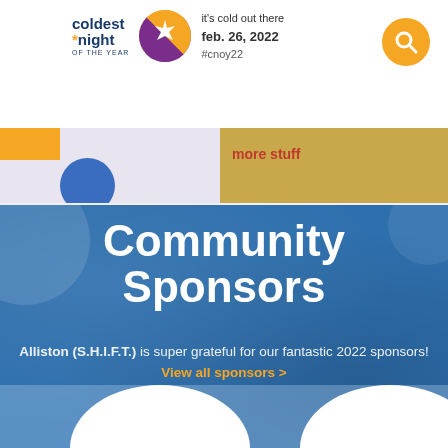coldest night of the year — it's cold out there feb. 26, 2022 #cnoy22
more stuff
Community Sponsors
Alliston (S.H.I.F.T.) is super grateful for our fantastic 2022 sponsors! View all sponsors >